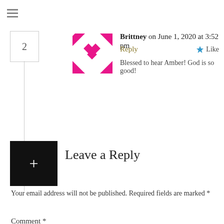[Figure (logo): Pink/magenta decorative logo with arrow shapes and diamond cluster]
Brittney on June 1, 2020 at 3:52 pm
Reply
Like
Blessed to hear Amber! God is so good!
[Figure (other): Black square with white plus sign]
Leave a Reply
Your email address will not be published. Required fields are marked *
Comment *